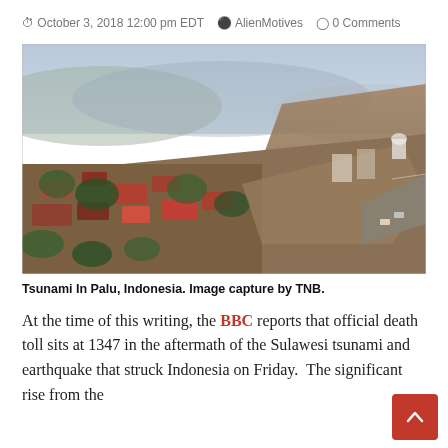October 3, 2018 12:00 pm EDT   AlienMotives   0 Comments
[Figure (photo): Aerial view of tsunami destruction in Palu, Indonesia, showing flooded coastal area with debris and damaged buildings.]
Tsunami In Palu, Indonesia. Image capture by TNB.
At the time of this writing, the BBC reports that official death toll sits at 1347 in the aftermath of the Sulawesi tsunami and earthquake that struck Indonesia on Friday.  The significant rise from the